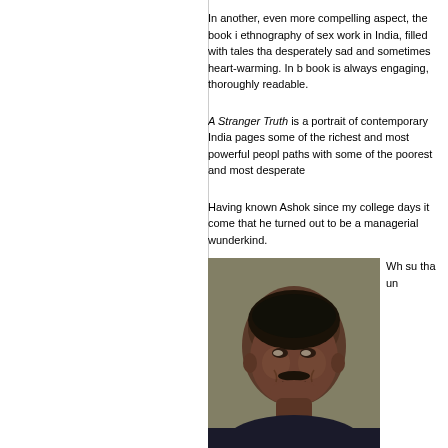In another, even more compelling aspect, the book is ethnography of sex work in India, filled with tales that are desperately sad and sometimes heart-warming. In both, the book is always engaging, thoroughly readable.
A Stranger Truth is a portrait of contemporary India where its pages some of the richest and most powerful people cross paths with some of the poorest and most desperate.
Having known Ashok since my college days it comes as no surprise that he turned out to be a managerial wunderkind.
[Figure (photo): Portrait photograph of a middle-aged South Asian man with a mustache, smiling slightly, against an olive/khaki background.]
Wh su tha un